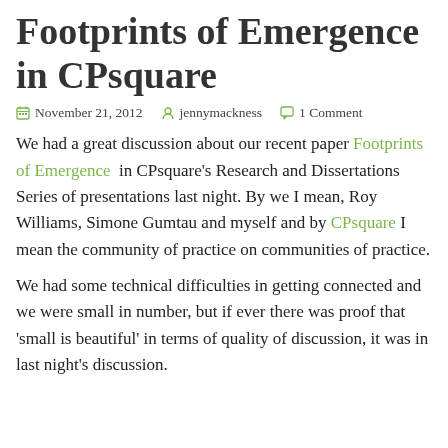Footprints of Emergence in CPsquare
November 21, 2012  jennymackness  1 Comment
We had a great discussion about our recent paper Footprints of Emergence in CPsquare’s Research and Dissertations Series of presentations last night. By we I mean, Roy Williams, Simone Gumtau and myself and by CPsquare I mean the community of practice on communities of practice.
We had some technical difficulties in getting connected and we were small in number, but if ever there was proof that ‘small is beautiful’ in terms of quality of discussion, it was in last night’s discussion.